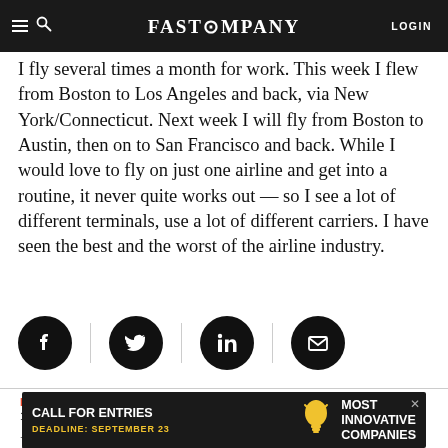FAST COMPANY | LOGIN
I fly several times a month for work. This week I flew from Boston to Los Angeles and back, via New York/Connecticut. Next week I will fly from Boston to Austin, then on to San Francisco and back. While I would love to fly on just one airline and get into a routine, it never quite works out — so I see a lot of different terminals, use a lot of different carriers. I have seen the best and the worst of the airline industry.
[Figure (other): Social share icons: Facebook, Twitter, LinkedIn, Email — black circles on white background with vertical dividers between them]
BY BRIAN REICH
1 MINUTE READ
I fly several times a month for work. This week I flew
[Figure (other): Advertisement banner: black background, white text 'CALL FOR ENTRIES', yellow text 'DEADLINE: SEPTEMBER 23', lightbulb icon, text 'Most Innovative Companies']